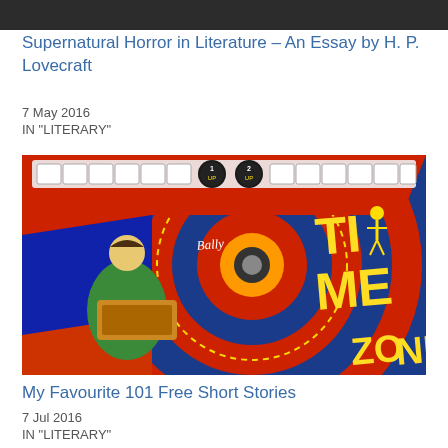[Figure (photo): Dark/black top image strip, partial view of an image at top of page]
Supernatural Horror in Literature – An Essay by H. P. Lovecraft
7 May 2016
IN "LITERARY"
[Figure (photo): Colorful vintage pinball machine artwork — Bally Time Zone pinball machine with retro illustrated characters, spiral target, and bold TIME ZONE lettering in red, blue, yellow, and green]
My Favourite 101 Free Short Stories
7 Jul 2016
IN "LITERARY"